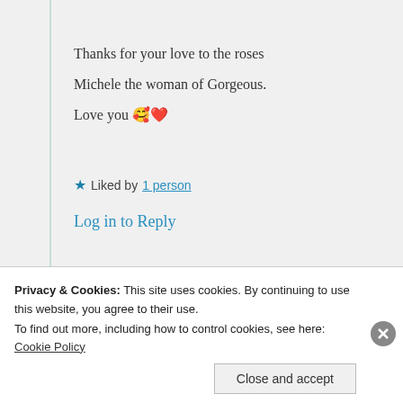Thanks for your love to the roses
Michele the woman of Gorgeous.
Love you 🥰❤️
★ Liked by 1 person
Log in to Reply
Michele Lee
Privacy & Cookies: This site uses cookies. By continuing to use this website, you agree to their use.
To find out more, including how to control cookies, see here: Cookie Policy
Close and accept